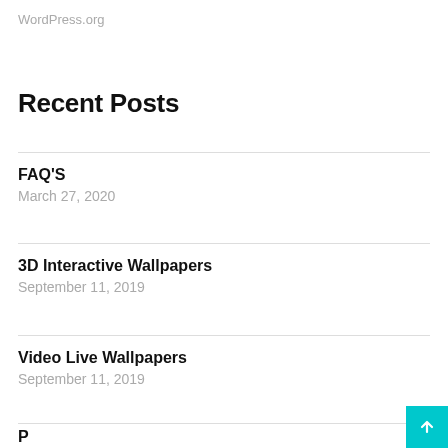WordPress.org
Recent Posts
FAQ'S
March 27, 2020
3D Interactive Wallpapers
September 11, 2019
Video Live Wallpapers
September 11, 2019